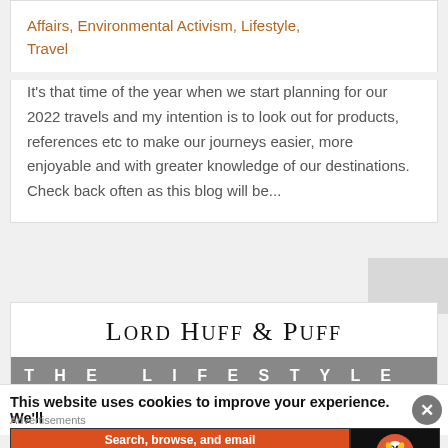Affairs, Environmental Activism, Lifestyle, Travel
It's that time of the year when we start planning for our 2022 travels and my intention is to look out for products, references etc to make our journeys easier, more enjoyable and with greater knowledge of our destinations. Check back often as this blog will be...
[Figure (logo): Lord Huff & Puff - The Lifestyle Store logo/banner with serif title text on white and subtitle on gray background]
This website uses cookies to improve your experience. We'll
Advertisements
[Figure (screenshot): DuckDuckGo advertisement banner: Search, browse, and email with more privacy. All in One Free App - with DuckDuckGo logo on dark background]